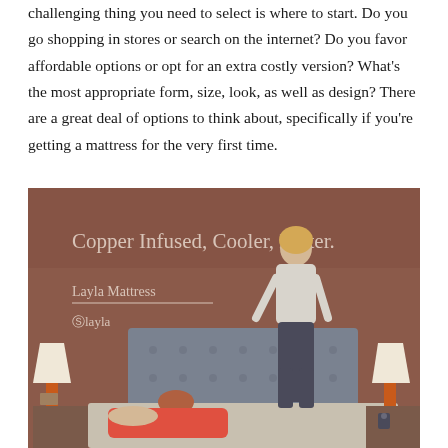challenging thing you need to select is where to start. Do you go shopping in stores or search on the internet? Do you favor affordable options or opt for an extra costly version? What's the most appropriate form, size, look, as well as design? There are a great deal of options to think about, specifically if you're getting a mattress for the very first time.
[Figure (photo): Advertisement photo for Layla Mattress showing two women on a mattress. Text reads 'Copper Infused, Cooler, Better.' with 'Layla Mattress' subtitle and Layla logo. Brown/terracotta background with orange lamps on bedside tables.]